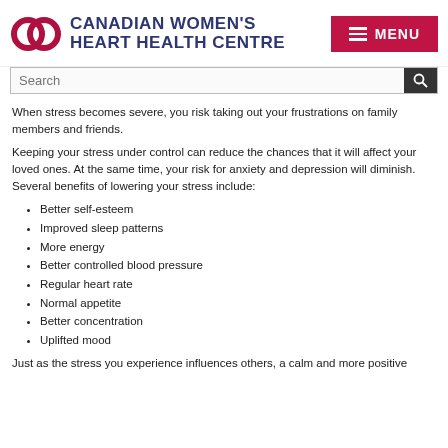[Figure (logo): Canadian Women's Heart Health Centre logo with interlocking rings and organization name]
When stress becomes severe, you risk taking out your frustrations on family members and friends.
Keeping your stress under control can reduce the chances that it will affect your loved ones. At the same time, your risk for anxiety and depression will diminish. Several benefits of lowering your stress include:
Better self-esteem
Improved sleep patterns
More energy
Better controlled blood pressure
Regular heart rate
Normal appetite
Better concentration
Uplifted mood
Just as the stress you experience influences others, a calm and more positive